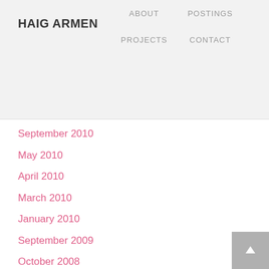HAIG ARMEN
ABOUT  POSTINGS  PROJECTS  CONTACT
September 2010
May 2010
April 2010
March 2010
January 2010
September 2009
October 2008
August 2008
February 2008
January 2008